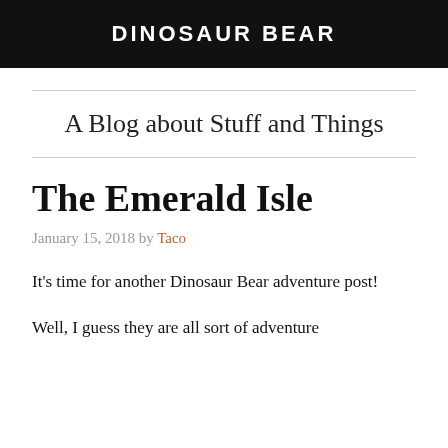DINOSAUR BEAR
A Blog about Stuff and Things
The Emerald Isle
January 15, 2018 by Taco
It's time for another Dinosaur Bear adventure post!
Well, I guess they are all sort of adventure